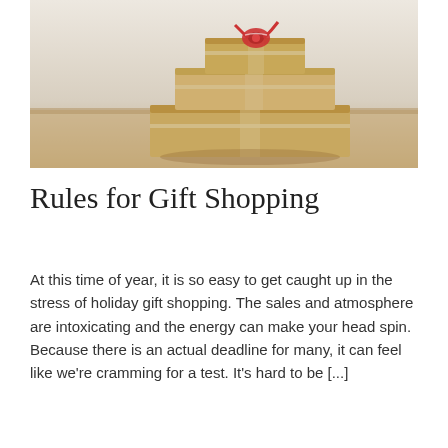[Figure (photo): Stack of brown kraft paper wrapped gift boxes tied with twine and red ribbon, photographed against a light background]
Rules for Gift Shopping
At this time of year, it is so easy to get caught up in the stress of holiday gift shopping. The sales and atmosphere are intoxicating and the energy can make your head spin. Because there is an actual deadline for many, it can feel like we're cramming for a test. It's hard to be [...]